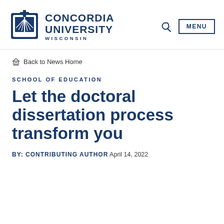Concordia University Wisconsin — MENU
Back to News Home
SCHOOL OF EDUCATION
Let the doctoral dissertation process transform you
BY: CONTRIBUTING AUTHOR April 14, 2022